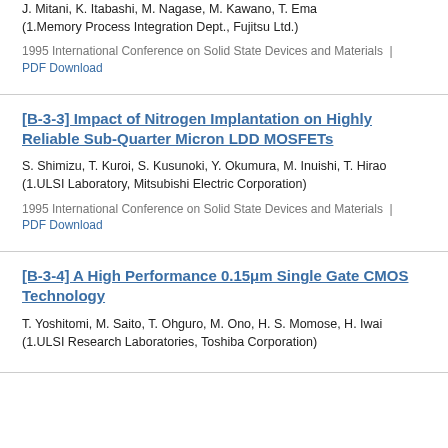J. Mitani, K. Itabashi, M. Nagase, M. Kawano, T. Ema (1.Memory Process Integration Dept., Fujitsu Ltd.)
1995 International Conference on Solid State Devices and Materials | PDF Download
[B-3-3] Impact of Nitrogen Implantation on Highly Reliable Sub-Quarter Micron LDD MOSFETs
S. Shimizu, T. Kuroi, S. Kusunoki, Y. Okumura, M. Inuishi, T. Hirao (1.ULSI Laboratory, Mitsubishi Electric Corporation)
1995 International Conference on Solid State Devices and Materials | PDF Download
[B-3-4] A High Performance 0.15μm Single Gate CMOS Technology
T. Yoshitomi, M. Saito, T. Ohguro, M. Ono, H. S. Momose, H. Iwai (1.ULSI Research Laboratories, Toshiba Corporation)